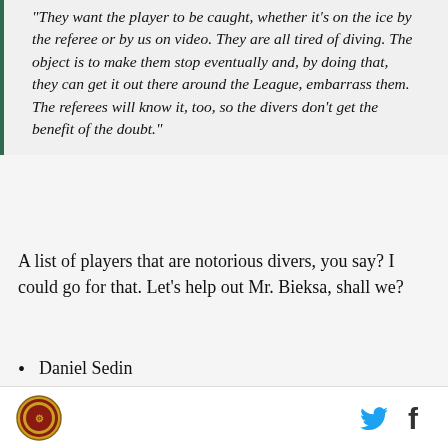"They want the player to be caught, whether it's on the ice by the referee or by us on video. They are all tired of diving. The object is to make them stop eventually and, by doing that, they can get it out there around the League, embarrass them. The referees will know it, too, so the divers don't get the benefit of the doubt."
A list of players that are notorious divers, you say? I could go for that. Let's help out Mr. Bieksa, shall we?
Daniel Sedin
Henrik Sedin
Ryan Kessler